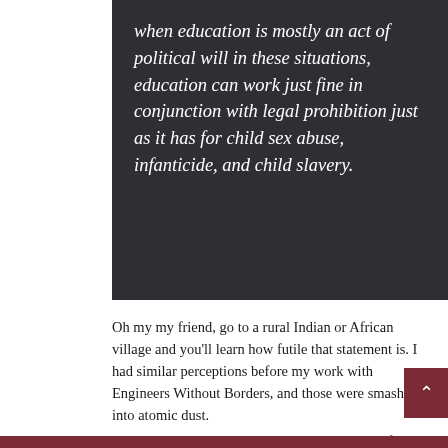when education is mostly an act of political will in these situations, education can work just fine in conjunction with legal prohibition just as it has for child sex abuse, infanticide, and child slavery.
Oh my my friend, go to a rural Indian or African village and you'll learn how futile that statement is. I had similar perceptions before my work with Engineers Without Borders, and those were smashed into atomic dust.
As will says, local groups usually have no care for...